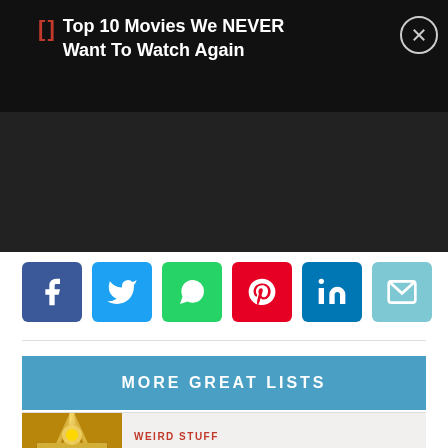Top 10 Movies We NEVER Want To Watch Again
[Figure (screenshot): Social share buttons row: Facebook, Twitter, WhatsApp, Pinterest, LinkedIn, Email]
MORE GREAT LISTS
WEIRD STUFF — 10 Truly Bizarre Cases Of Self-Proclaimed Messiahs
WEIRD STUFF — 10 Unusual Studies With Fascinating Results